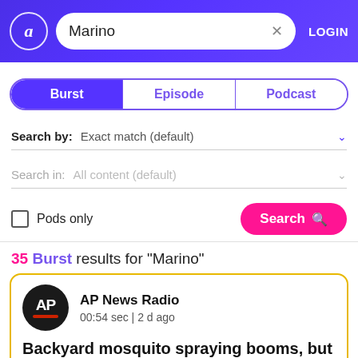Marino — Search bar with AP logo and LOGIN button
Burst | Episode | Podcast
Search by: Exact match (default)
Search in: All content (default)
Pods only  Search
35 Burst results for "Marino"
AP News Radio
00:54 sec | 2 d ago
Backyard mosquito spraying booms, but may be too deadly